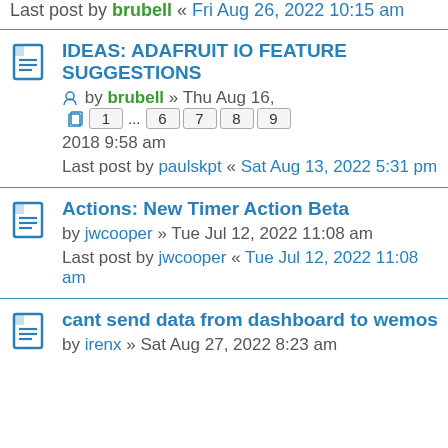Last post by brubell « Fri Aug 26, 2022 10:15 am
IDEAS: ADAFRUIT IO FEATURE SUGGESTIONS — by brubell » Thu Aug 16, 2018 9:58 am — pages 1...6 7 8 9 — Last post by paulskpt « Sat Aug 13, 2022 5:31 pm
Actions: New Timer Action Beta — by jwcooper » Tue Jul 12, 2022 11:08 am — Last post by jwcooper « Tue Jul 12, 2022 11:08 am
cant send data from dashboard to wemos — by irenx » Sat Aug 27, 2022 8:23 am